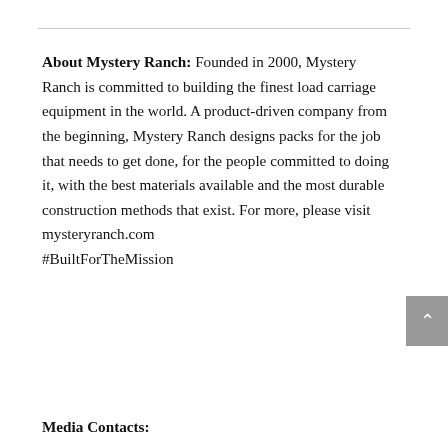About Mystery Ranch: Founded in 2000, Mystery Ranch is committed to building the finest load carriage equipment in the world. A product-driven company from the beginning, Mystery Ranch designs packs for the job that needs to get done, for the people committed to doing it, with the best materials available and the most durable construction methods that exist. For more, please visit mysteryranch.com
#BuiltForTheMission
Media Contacts: